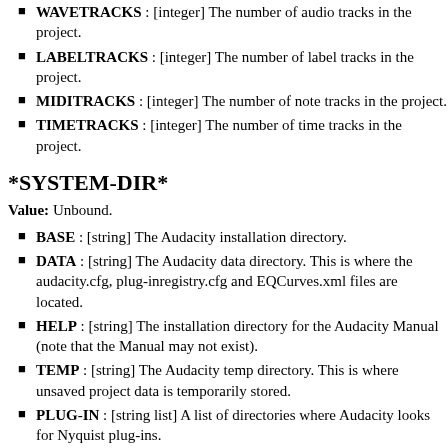WAVETRACKS : [integer] The number of audio tracks in the project.
LABELTRACKS : [integer] The number of label tracks in the project.
MIDITRACKS : [integer] The number of note tracks in the project.
TIMETRACKS : [integer] The number of time tracks in the project.
*SYSTEM-DIR*
Value: Unbound.
BASE : [string] The Audacity installation directory.
DATA : [string] The Audacity data directory. This is where the audacity.cfg, plug-inregistry.cfg and EQCurves.xml files are located.
HELP : [string] The installation directory for the Audacity Manual (note that the Manual may not exist).
TEMP : [string] The Audacity temp directory. This is where unsaved project data is temporarily stored.
PLUG-IN : [string list] A list of directories where Audacity looks for Nyquist plug-ins.
*SYSTEM-TIME*